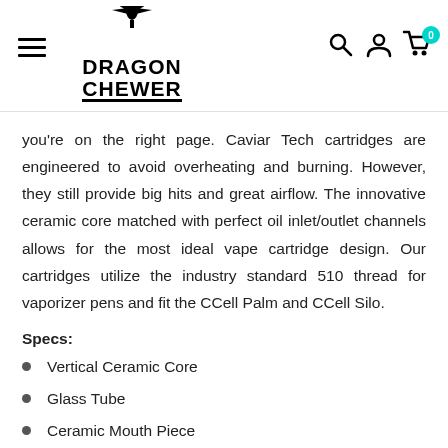Dragon Chewer logo with navigation icons
you're on the right page. Caviar Tech cartridges are engineered to avoid overheating and burning. However, they still provide big hits and great airflow. The innovative ceramic core matched with perfect oil inlet/outlet channels allows for the most ideal vape cartridge design. Our cartridges utilize the industry standard 510 thread for vaporizer pens and fit the CCell Palm and CCell Silo.
Specs:
Vertical Ceramic Core
Glass Tube
Ceramic Mouth Piece